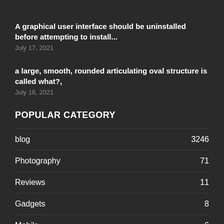A graphical user interface should be uninstalled before attempting to install...
July 17, 2021
a large, smooth, rounded articulating oval structure is called what?,
July 16, 2021
POPULAR CATEGORY
blog 3246
Photography 71
Reviews 11
Gadgets 8
Mobile 6